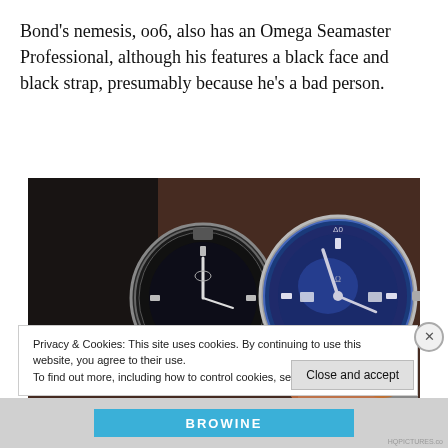Bond’s nemesis, oo6, also has an Omega Seamaster Professional, although his features a black face and black strap, presumably because he’s a bad person.
[Figure (photo): Two Omega Seamaster Professional watches side by side — one with a dark/black face and one with a blue face and blue bezel, held up against a warm background.]
Privacy & Cookies: This site uses cookies. By continuing to use this website, you agree to their use.
To find out more, including how to control cookies, see here: Cookie Policy
Close and accept
BROWINE